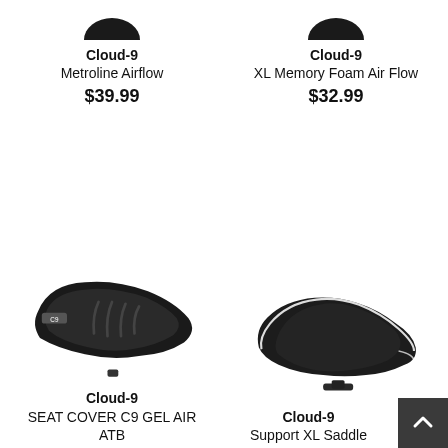Cloud-9
Metroline Airflow
$39.99
Cloud-9
XL Memory Foam Air Flow
$32.99
[Figure (photo): Black bicycle saddle with gel padding and ventilation grooves - Cloud-9 Seat Cover C9 Gel Air ATB]
[Figure (photo): Wide black bicycle saddle with white piping - Cloud-9 Support XL Saddle]
Cloud-9
SEAT COVER C9 GEL AIR ATB
Cloud-9
Support XL Saddle